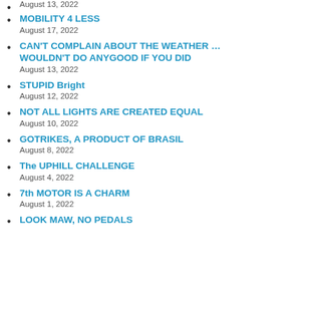MOBILITY 4 LESS
August 17, 2022
CAN'T COMPLAIN ABOUT THE WEATHER … WOULDN'T DO ANYGOOD IF YOU DID
August 13, 2022
STUPID Bright
August 12, 2022
NOT ALL LIGHTS ARE CREATED EQUAL
August 10, 2022
GOTRIKES, A PRODUCT OF BRASIL
August 8, 2022
The UPHILL CHALLENGE
August 4, 2022
7th MOTOR IS A CHARM
August 1, 2022
LOOK MAW, NO PEDALS